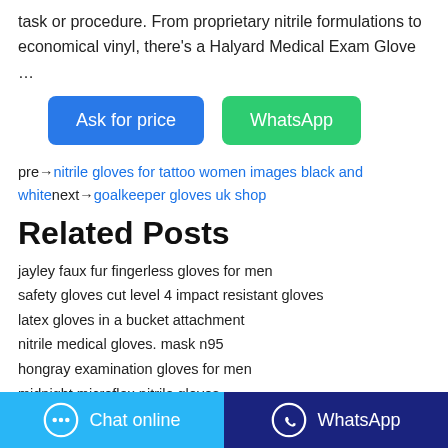task or procedure. From proprietary nitrile formulations to economical vinyl, there's a Halyard Medical Exam Glove
…
Ask for price | WhatsApp (buttons)
pre→nitrile gloves for tattoo women images black and white next→goalkeeper gloves uk shop
Related Posts
jayley faux fur fingerless gloves for men
safety gloves cut level 4 impact resistant gloves
latex gloves in a bucket attachment
nitrile medical gloves. mask n95
hongray examination gloves for men
midnight microflex nitrile gloves
Chat online | WhatsApp